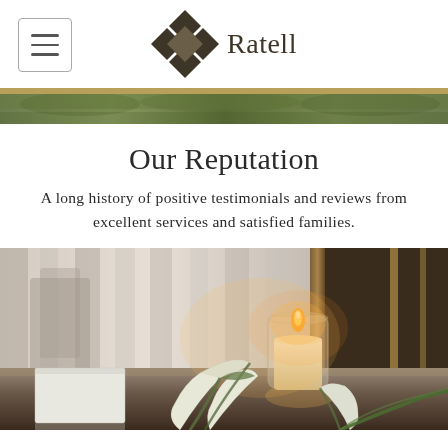[Figure (logo): Ratell logo with diamond/arrow geometric symbol and text 'Ratell']
[Figure (photo): Outdoor greenery landscape strip photo]
Our Reputation
A long history of positive testimonials and reviews from excellent services and satisfied families.
[Figure (photo): Close-up photo of a lit candle in a glass jar with white calla lily flowers on a reflective dark table surface]